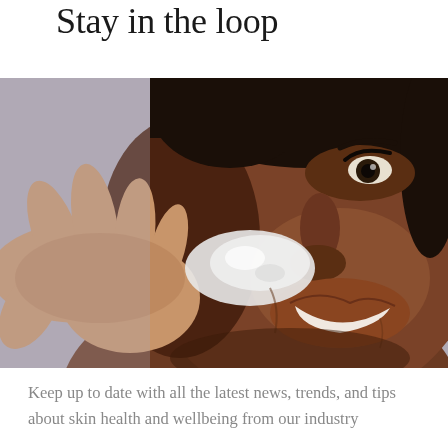Stay in the loop
[Figure (photo): Close-up of a smiling Black woman applying white cream/skincare product to her cheek with her fingers, against a grey background]
Keep up to date with all the latest news, trends, and tips about skin health and wellbeing from our industry